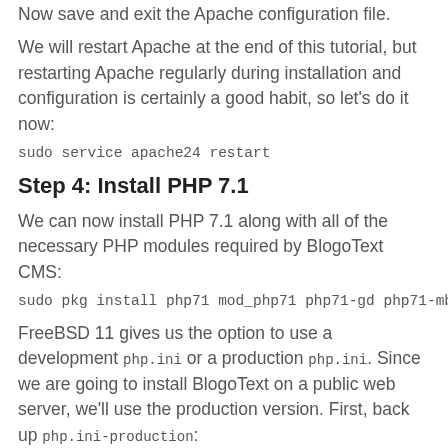Now save and exit the Apache configuration file.
We will restart Apache at the end of this tutorial, but restarting Apache regularly during installation and configuration is certainly a good habit, so let's do it now:
sudo service apache24 restart
Step 4: Install PHP 7.1
We can now install PHP 7.1 along with all of the necessary PHP modules required by BlogoText CMS:
sudo pkg install php71 mod_php71 php71-gd php71-mbstring
FreeBSD 11 gives us the option to use a development php.ini or a production php.ini. Since we are going to install BlogoText on a public web server, we'll use the production version. First, back up php.ini-production:
sudo cp /usr/local/etc/php.ini-production /usr/local/etc/
Then soft-link php.ini-production to php.ini:
sudo ln -s /usr/local/etc/php.ini-production /usr/local/